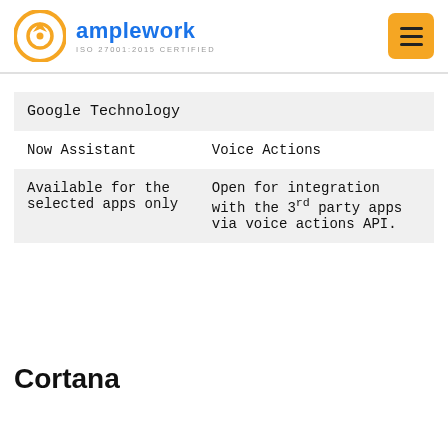amplework ISO 27001:2015 CERTIFIED
| Google Technology |  |
| --- | --- |
| Now Assistant | Voice Actions |
| Available for the selected apps only | Open for integration with the 3rd party apps via voice actions API. |
Cortana